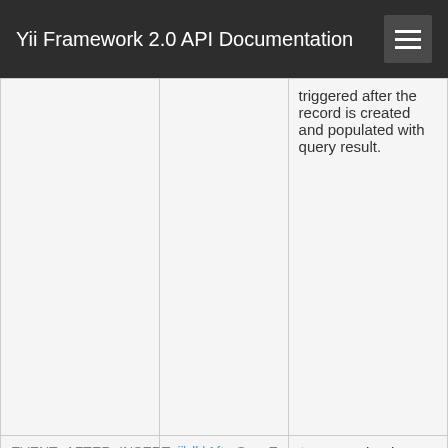Yii Framework 2.0 API Documentation
|  |  | triggered after the record is created and populated with query result. |
| EVENT_AFTER_INSERT | yii\db\AfterSaveEvent | An event that is triggered after a record is inserted. |
| EVENT_AFTER_REFRESH | yii\base\Event | An event that is triggered after a record is refreshed |